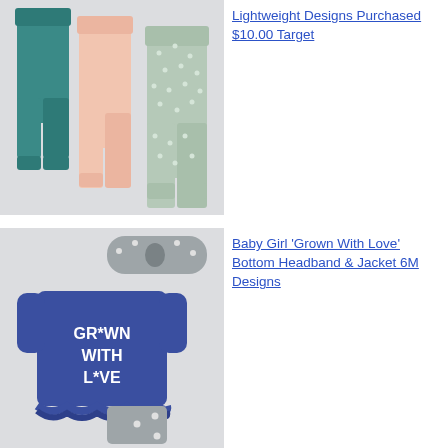[Figure (photo): Three baby/toddler leggings/pants: teal, pale pink, and grey dotted, displayed on a grey background]
Lightweight Designs Purchased $10.00 Target
[Figure (photo): Baby girl outfit set: blue long-sleeve shirt with 'GROWN WITH LOVE' text, grey daisy headband, and grey daisy pants]
Baby Girl 'Grown With Love' Bottom Headband & Jacket 6M Designs